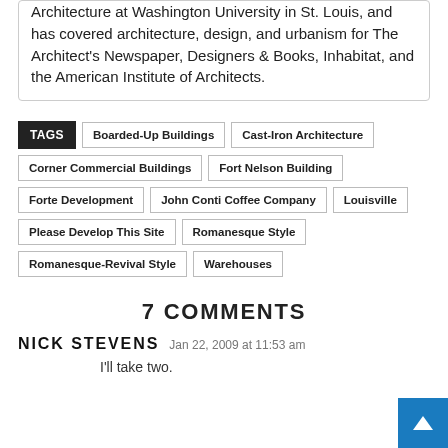Architecture at Washington University in St. Louis, and has covered architecture, design, and urbanism for The Architect's Newspaper, Designers & Books, Inhabitat, and the American Institute of Architects.
TAGS: Boarded-Up Buildings, Cast-Iron Architecture, Corner Commercial Buildings, Fort Nelson Building, Forte Development, John Conti Coffee Company, Louisville, Please Develop This Site, Romanesque Style, Romanesque-Revival Style, Warehouses
7 COMMENTS
NICK STEVENS   Jan 22, 2009 at 11:53 am
I'll take two.